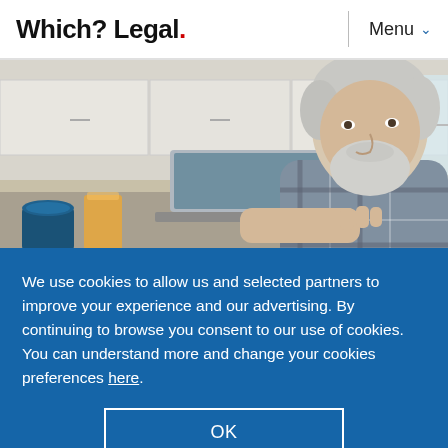Which? Legal. | Menu
[Figure (photo): Elderly man with white hair and beard, wearing a plaid shirt, using a laptop computer at a kitchen table. A glass of orange juice and a blue mug are visible in the foreground.]
We use cookies to allow us and selected partners to improve your experience and our advertising. By continuing to browse you consent to our use of cookies. You can understand more and change your cookies preferences here.